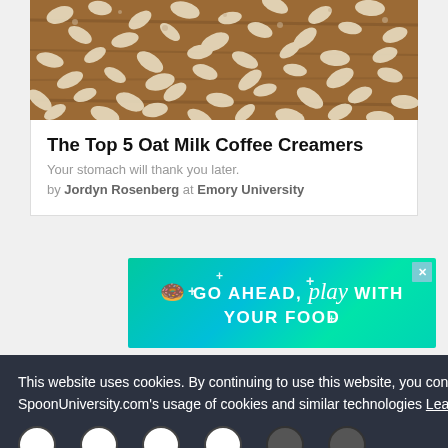[Figure (photo): Oat flakes scattered on a wooden surface, photographed from above]
The Top 5 Oat Milk Coffee Creamers
Your stomach will thank you later.
by Jordyn Rosenberg at Emory University
[Figure (illustration): Advertisement banner with teal/green gradient background reading: GO AHEAD, play WITH YOUR FOOD]
This website uses cookies. By continuing to use this website, you consent to SpoonUniversity.com's usage of cookies and similar technologies Learn more
Got it!
Rights Reserved